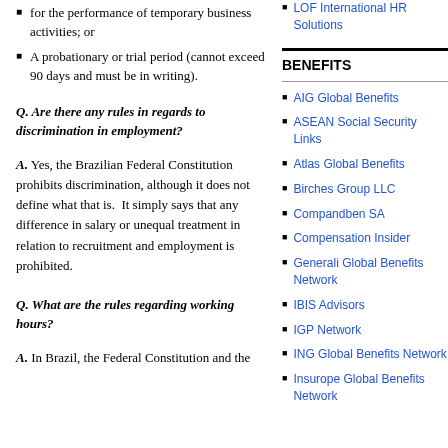for the performance of temporary business activities; or
A probationary or trial period (cannot exceed 90 days and must be in writing).
Q. Are there any rules in regards to discrimination in employment?
A. Yes, the Brazilian Federal Constitution prohibits discrimination, although it does not define what that is.  It simply says that any difference in salary or unequal treatment in relation to recruitment and employment is prohibited.
Q. What are the rules regarding working hours?
A. In Brazil, the Federal Constitution and the
LOF International HR Solutions
BENEFITS
AIG Global Benefits
ASEAN Social Security Links
Atlas Global Benefits
Birches Group LLC
Compandben SA
Compensation Insider
Generali Global Benefits Network
IBIS Advisors
IGP Network
ING Global Benefits Network
Insurope Global Benefits Network